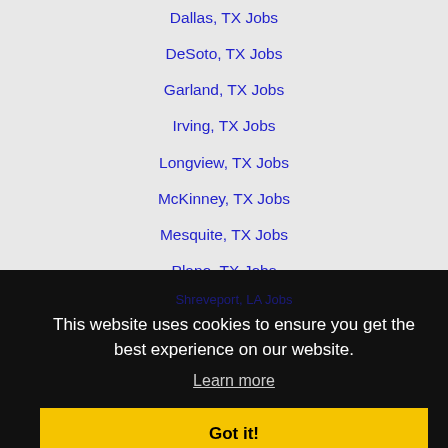Dallas, TX Jobs
DeSoto, TX Jobs
Garland, TX Jobs
Irving, TX Jobs
Longview, TX Jobs
McKinney, TX Jobs
Mesquite, TX Jobs
Plano, TX Jobs
Richardson, TX Jobs
Rowlett, TX Jobs
Shreveport, LA Jobs
This website uses cookies to ensure you get the best experience on our website.
Learn more
Got it!
Home · About · Find Jobs · Post Jobs · Career Advice · Find Salary · Search Terms · Contact · Terms of Use · Register / Login · Help